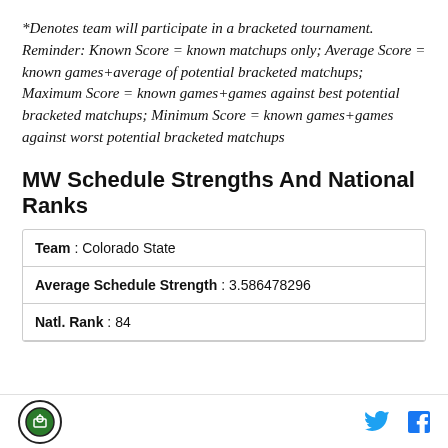*Denotes team will participate in a bracketed tournament. Reminder: Known Score = known matchups only; Average Score = known games+average of potential bracketed matchups; Maximum Score = known games+games against best potential bracketed matchups; Minimum Score = known games+games against worst potential bracketed matchups
MW Schedule Strengths And National Ranks
| Team : Colorado State |
| Average Schedule Strength : 3.586478296 |
| Natl. Rank : 84 |
[logo] [twitter] [facebook]